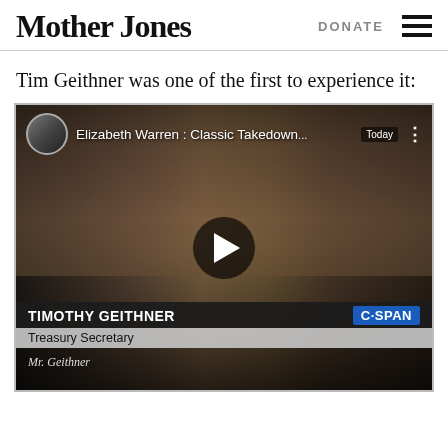Mother Jones  DONATE
Tim Geithner was one of the first to experience it:
[Figure (screenshot): YouTube video thumbnail showing Timothy Geithner at a C-SPAN hearing. Video title overlay reads 'Elizabeth Warren : Classic Takedown...' with a Today badge. Lower third chyron reads 'TIMOTHY GEITHNER / Treasury Secretary' with C-SPAN logo and subtitle 'Mr. Geithner'. Play button visible in center.]